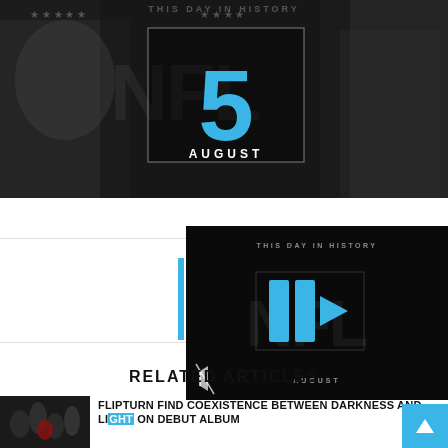[Figure (screenshot): Hero section showing This Day In History with large number 5 in blue and AUGUST text, NFL logo watermark in background, dark overlay]
[Figure (screenshot): Video player thumbnail showing This Day In History NFL content with blue play button icon and mute icon]
RELATED ARTICLES
[Figure (photo): Small thumbnail of band members for Flipturn article]
FLIPTURN FIND COEXISTENCE BETWEEN DARKNESS AND LIGHT ON DEBUT ALBUM